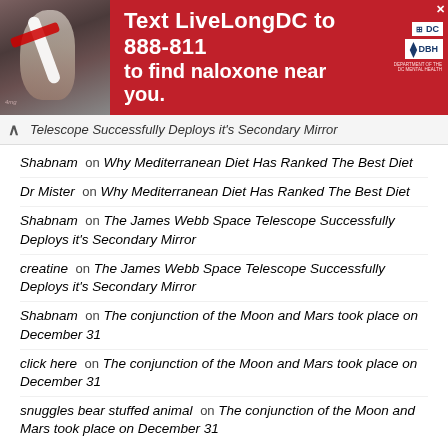[Figure (infographic): Red advertisement banner: Text LiveLongDC to 888-811 to find naloxone near you. Left side shows a person holding a naloxone kit. Right side has DC Health and DBH logos.]
Telescope Successfully Deploys it's Secondary Mirror
Shabnam on Why Mediterranean Diet Has Ranked The Best Diet
Dr Mister on Why Mediterranean Diet Has Ranked The Best Diet
Shabnam on The James Webb Space Telescope Successfully Deploys it's Secondary Mirror
creatine on The James Webb Space Telescope Successfully Deploys it's Secondary Mirror
Shabnam on The conjunction of the Moon and Mars took place on December 31
click here on The conjunction of the Moon and Mars took place on December 31
snuggles bear stuffed animal on The conjunction of the Moon and Mars took place on December 31